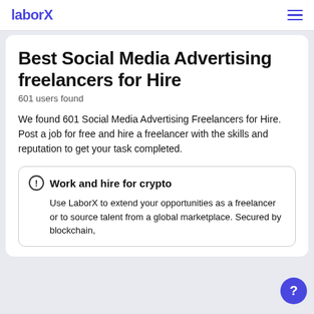laborX
Best Social Media Advertising freelancers for Hire
601 users found
We found 601 Social Media Advertising Freelancers for Hire.
Post a job for free and hire a freelancer with the skills and reputation to get your task completed.
Work and hire for crypto
Use LaborX to extend your opportunities as a freelancer or to source talent from a global marketplace. Secured by blockchain,